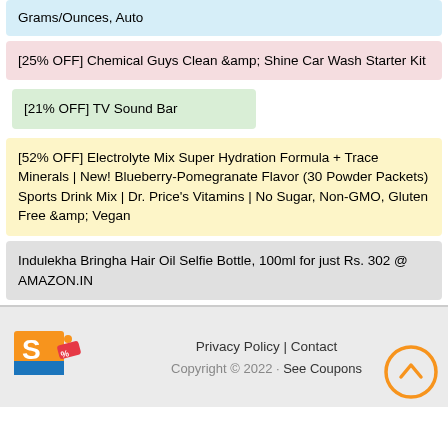Grams/Ounces, Auto
[25% OFF] Chemical Guys Clean &amp; Shine Car Wash Starter Kit
[21% OFF] TV Sound Bar
[52% OFF] Electrolyte Mix Super Hydration Formula + Trace Minerals | New! Blueberry-Pomegranate Flavor (30 Powder Packets) Sports Drink Mix | Dr. Price's Vitamins | No Sugar, Non-GMO, Gluten Free &amp; Vegan
Indulekha Bringha Hair Oil Selfie Bottle, 100ml for just Rs. 302 @ AMAZON.IN
Privacy Policy | Contact
Copyright © 2022 · See Coupons